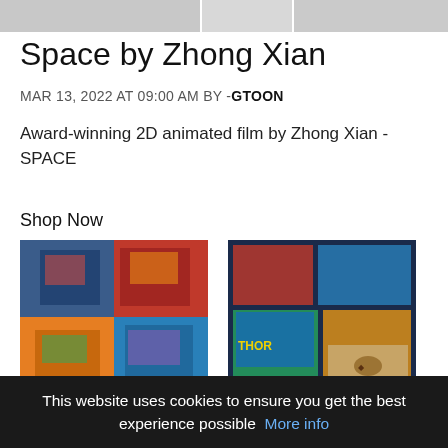[Figure (photo): Partial image strip at top of page showing cropped content with grey/muted tones]
Space by Zhong Xian
MAR 13, 2022 AT 09:00 AM BY -GTOON
Award-winning 2D animated film by Zhong Xian - SPACE
Shop Now
[Figure (photo): Comic book collection image - Premium Comic Books Gift Pack with colorful comic covers and action figures]
Premium Comic Books Gift Pack - 24 Comics Collection - M...
[Figure (photo): The Comic Garage Ultimate Box - colorful comic book covers with Thor visible and a brown box]
The Comic Garage Ultimate Box - Start a Collection or Expan...
$39.45
$41.99
This website uses cookies to ensure you get the best experience possible More info